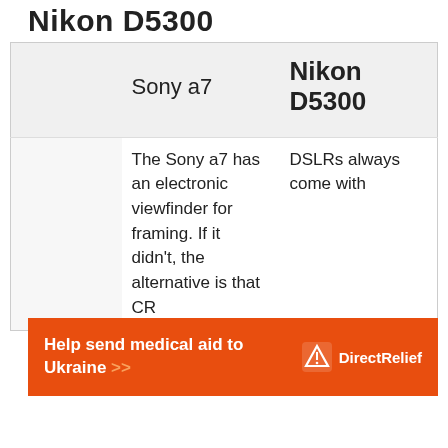Nikon D5300
|  | Sony a7 | Nikon D5300 |
| --- | --- | --- |
|  | The Sony a7 has an electronic viewfinder for framing. If it didn't, the alternative is that CR... | DSLRs always come with... |
[Figure (infographic): Orange advertisement banner: 'Help send medical aid to Ukraine >>' with DirectRelief logo on right]